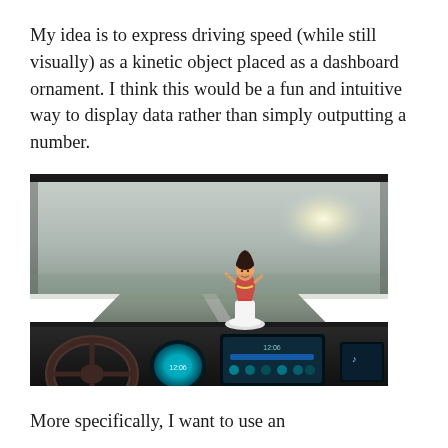My idea is to express driving speed (while still visually) as a kinetic object placed as a dashboard ornament. I think this would be a fun and intuitive way to display data rather than simply outputting a number.
[Figure (photo): Photo of a hula dancer dashboard bobblehead ornament placed on a modern car dashboard with digital instrument cluster and screens visible, with a blurred road visible through the windshield in the background.]
More specifically, I want to use an